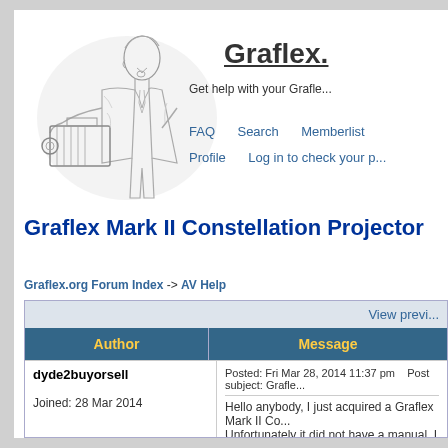[Figure (illustration): Pencil sketch illustration of a man in a suit using an old-fashioned large format camera or press camera, viewed from the side.]
Graflex.
Get help with your Grafle...
FAQ   Search   Memberlist
Profile   Log in to check your p...
Graflex Mark II Constellation Projector
Graflex.org Forum Index -> AV Help
| Author | Message |
| --- | --- |
| dyde2buyorsell

Joined: 28 Mar 2014 | Posted: Fri Mar 28, 2014 11:37 pm   Post subject: Grafle...

Hello anybody, I just acquired a Graflex Mark II Co... Unfortunately it did not have a manual. I have scou... |